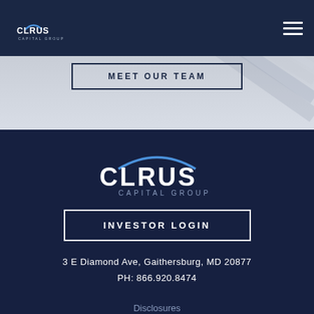Clarus Capital Group - navigation header
MEET OUR TEAM
[Figure (logo): Clarus Capital Group logo in white on dark navy background]
INVESTOR LOGIN
3 E Diamond Ave, Gaithersburg, MD 20877
PH: 866.920.8474
Disclosures
Privacy Policy
© 2021 Clarus Capital Group